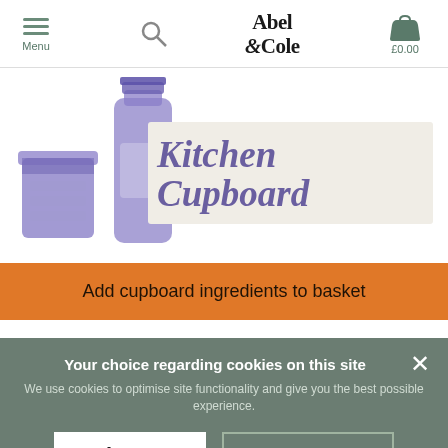Menu | Abel & Cole | £0.00
[Figure (illustration): Kitchen Cupboard banner with purple illustrated jars and text 'Kitchen Cupboard' on a beige background]
Add cupboard ingredients to basket
Your choice regarding cookies on this site
We use cookies to optimise site functionality and give you the best possible experience.
Accept | Cookie Preferences